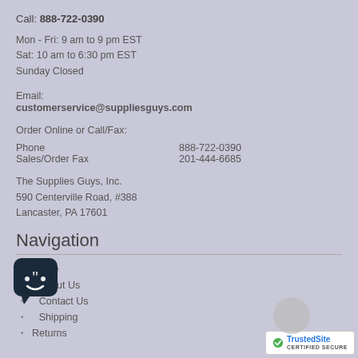Call: 888-722-0390
Mon - Fri: 9 am to 9 pm EST
Sat: 10 am to 6:30 pm EST
Sunday Closed
Email:
customerservice@suppliesguys.com
Order Online or Call/Fax:
| Phone | 888-722-0390 |
| Sales/Order Fax | 201-444-6685 |
The Supplies Guys, Inc.
590 Centerville Road, #388
Lancaster, PA 17601
Navigation
Home
About Us
Contact Us
Shipping
Returns